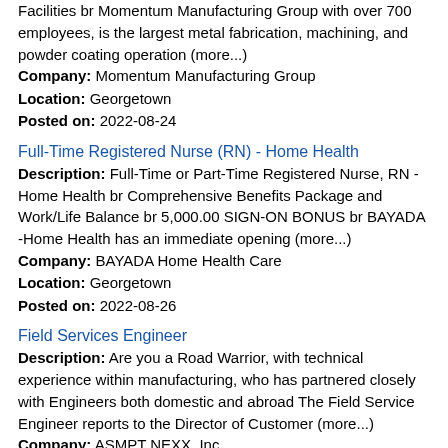Facilities br Momentum Manufacturing Group with over 700 employees, is the largest metal fabrication, machining, and powder coating operation (more...)
Company: Momentum Manufacturing Group
Location: Georgetown
Posted on: 2022-08-24
Full-Time Registered Nurse (RN) - Home Health
Description: Full-Time or Part-Time Registered Nurse, RN - Home Health br Comprehensive Benefits Package and Work/Life Balance br 5,000.00 SIGN-ON BONUS br BAYADA -Home Health has an immediate opening (more...)
Company: BAYADA Home Health Care
Location: Georgetown
Posted on: 2022-08-26
Field Services Engineer
Description: Are you a Road Warrior, with technical experience within manufacturing, who has partnered closely with Engineers both domestic and abroad The Field Service Engineer reports to the Director of Customer (more...)
Company: ASMPT NEXX, Inc.
Location: Billerica
Posted on: 2022-08-27
Intern - Application Support Specialist
Description: The Intern - Application Support Specialist is responsible for the ongoing support and maintenance of hosted